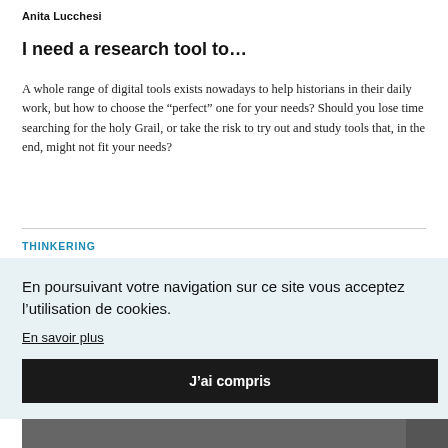Anita Lucchesi
I need a research tool to…
A whole range of digital tools exists nowadays to help historians in their daily work, but how to choose the “perfect” one for your needs? Should you lose time searching for the holy Grail, or take the risk to try out and study tools that, in the end, might not fit your needs?
THINKERING
En poursuivant votre navigation sur ce site vous acceptez l’utilisation de cookies.
En savoir plus
J’ai compris
[Figure (photo): Partial grayscale photograph visible on the right side and bottom of the page, partially obscured by the cookie consent overlay.]